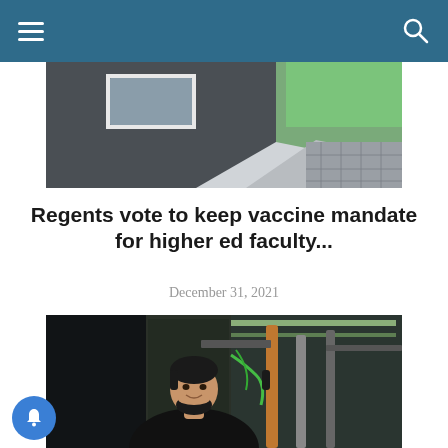Navigation header with hamburger menu and search icon
[Figure (photo): Exterior photo of a building with dark grey wall, white-framed window, green grass in background, and decorative stone pavement in foreground]
Regents vote to keep vaccine mandate for higher ed faculty...
December 31, 2021
[Figure (photo): A bearded man in a black t-shirt standing in front of complex industrial/laboratory machinery with pipes, cylinders, green-lit panels and equipment]